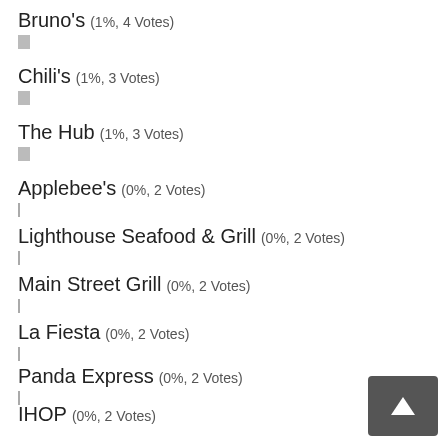Bruno's (1%, 4 Votes)
Chili's (1%, 3 Votes)
The Hub (1%, 3 Votes)
Applebee's (0%, 2 Votes)
Lighthouse Seafood & Grill (0%, 2 Votes)
Main Street Grill (0%, 2 Votes)
La Fiesta (0%, 2 Votes)
Panda Express (0%, 2 Votes)
IHOP (0%, 2 Votes)
Denny's (0%, 2 Votes)
Zaxby's (0%, 1 Votes)
Taco Time (0%, 1 Votes)